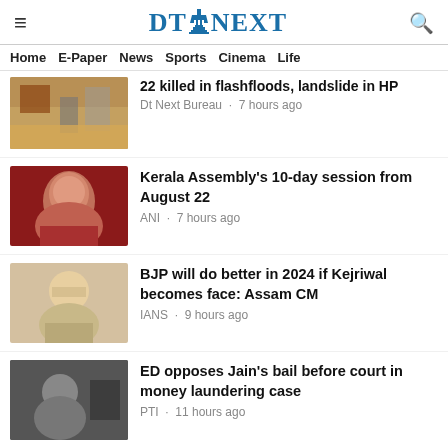DT NEXT
Home · E-Paper · News · Sports · Cinema · Life
22 killed in flashfloods, landslide in HP — Dt Next Bureau · 7 hours ago
Kerala Assembly's 10-day session from August 22 — ANI · 7 hours ago
BJP will do better in 2024 if Kejriwal becomes face: Assam CM — IANS · 9 hours ago
ED opposes Jain's bail before court in money laundering case — PTI · 11 hours ago